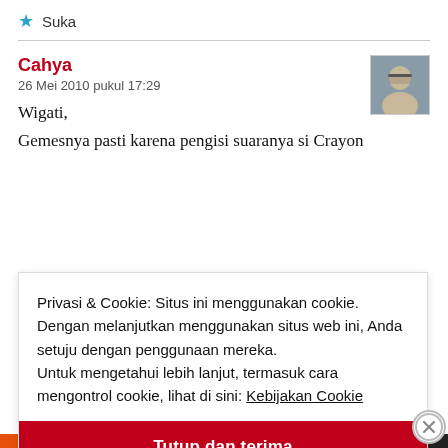★ Suka
Cahya
26 Mei 2010 pukul 17:29
Wigati,
Gemesnya pasti karena pengisi suaranya si Crayon
[Figure (photo): Avatar photo of commenter Cahya]
Privasi & Cookie: Situs ini menggunakan cookie. Dengan melanjutkan menggunakan situs web ini, Anda setuju dengan penggunaan mereka.
Untuk mengetahui lebih lanjut, termasuk cara mengontrol cookie, lihat di sini: Kebijakan Cookie
Tutup dan terima